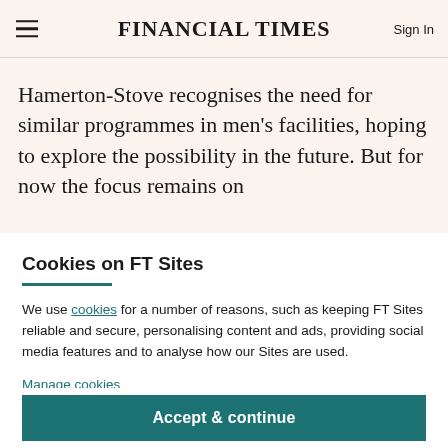FINANCIAL TIMES  Sign In
Hamerton-Stove recognises the need for similar programmes in men's facilities, hoping to explore the possibility in the future. But for now the focus remains on
Cookies on FT Sites
We use cookies for a number of reasons, such as keeping FT Sites reliable and secure, personalising content and ads, providing social media features and to analyse how our Sites are used.
Manage cookies
Accept & continue